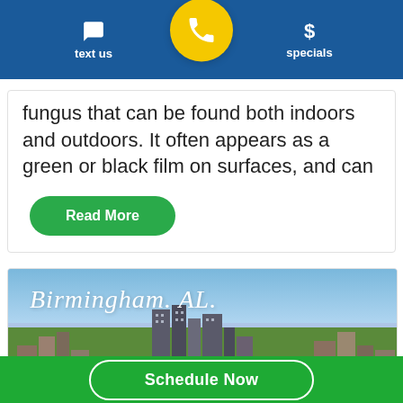text us | [phone] | specials
fungus that can be found both indoors and outdoors. It often appears as a green or black film on surfaces, and can
Read More
[Figure (photo): Aerial cityscape photo of Birmingham, AL with script-style text overlay reading 'Birmingham. AL.']
Schedule Now